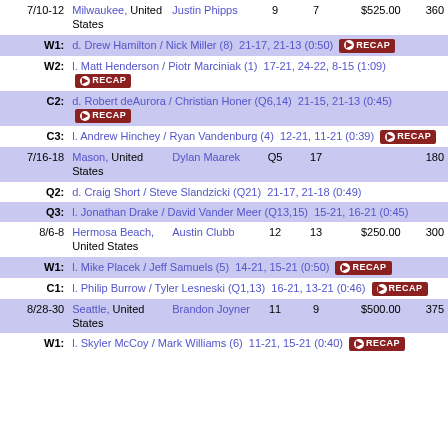| Date | Location | Player | # | # | Prize | Pts |
| --- | --- | --- | --- | --- | --- | --- |
| 7/10-12 | Milwaukee, United States | Justin Phipps | 9 | 7 | $525.00 | 360 |
| W1: | d. Drew Hamilton / Nick Miller (8) 21-17, 21-13 (0:50) [RECAP] |  |  |  |  |  |
| W2: | l. Matt Henderson / Piotr Marciniak (1) 17-21, 24-22, 8-15 (1:09) [RECAP] |  |  |  |  |  |
| C2: | d. Robert deAurora / Christian Honer (Q6,14) 21-15, 21-13 (0:45) [RECAP] |  |  |  |  |  |
| C3: | l. Andrew Hinchey / Ryan Vandenburg (4) 12-21, 11-21 (0:39) [RECAP] |  |  |  |  |  |
| 7/16-18 | Mason, United States | Dylan Maarek | Q5 | 17 |  | 180 |
| Q2: | d. Craig Short / Steve Slandzicki (Q21) 21-17, 21-18 (0:49) |  |  |  |  |  |
| Q3: | l. Jonathan Drake / David Vander Meer (Q13,15) 15-21, 16-21 (0:45) |  |  |  |  |  |
| 8/6-8 | Hermosa Beach, United States | Austin Clubb | 12 | 13 | $250.00 | 300 |
| W1: | l. Mike Placek / Jeff Samuels (5) 14-21, 15-21 (0:50) [RECAP] |  |  |  |  |  |
| C1: | l. Philip Burrow / Tyler Lesneski (Q1,13) 16-21, 13-21 (0:46) [RECAP] |  |  |  |  |  |
| 8/28-30 | Seattle, United States | Brandon Joyner | 11 | 9 | $500.00 | 375 |
| W1: | l. Skyler McCoy / Mark Williams (6) 11-21, 15-21 (0:40) [RECAP] |  |  |  |  |  |